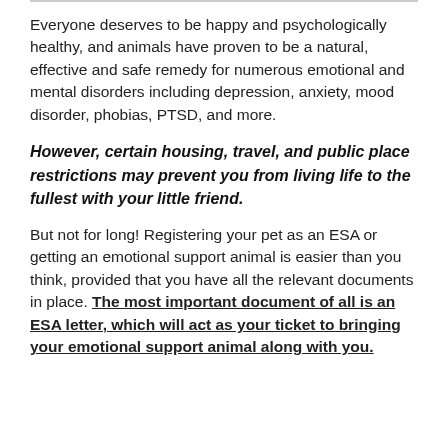Everyone deserves to be happy and psychologically healthy, and animals have proven to be a natural, effective and safe remedy for numerous emotional and mental disorders including depression, anxiety, mood disorder, phobias, PTSD, and more.
However, certain housing, travel, and public place restrictions may prevent you from living life to the fullest with your little friend.
But not for long! Registering your pet as an ESA or getting an emotional support animal is easier than you think, provided that you have all the relevant documents in place. The most important document of all is an ESA letter, which will act as your ticket to bringing your emotional support animal along with you.